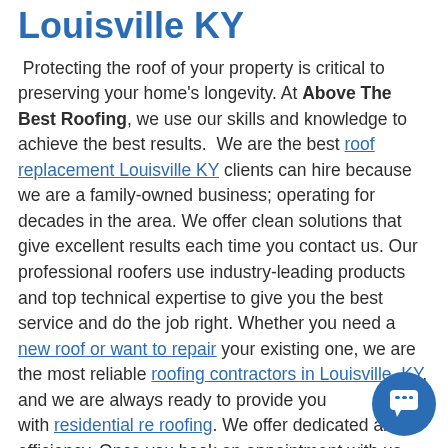Louisville KY
Protecting the roof of your property is critical to preserving your home's longevity. At Above The Best Roofing, we use our skills and knowledge to achieve the best results. We are the best roof replacement Louisville KY clients can hire because we are a family-owned business; operating for decades in the area. We offer clean solutions that give excellent results each time you contact us. Our professional roofers use industry-leading products and top technical expertise to give you the best service and do the job right. Whether you need a new roof or want to repair your existing one, we are the most reliable roofing contractors in Louisville, KY, and we are always ready to provide you with residential re roofing. We offer dedicated and efficiency. Once you book an appointment with us, we will visit your property, inspect your home,